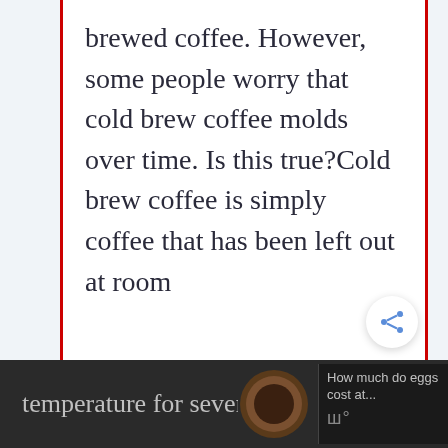brewed coffee. However, some people worry that cold brew coffee molds over time. Is this true?Cold brew coffee is simply coffee that has been left out at room
temperature for several hours